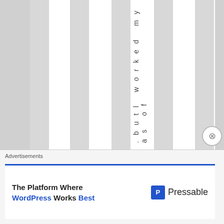.butl worked my as of
Advertisements
The Platform Where WordPress Works Best
[Figure (logo): Pressable logo with blue square icon and word 'Pressable']